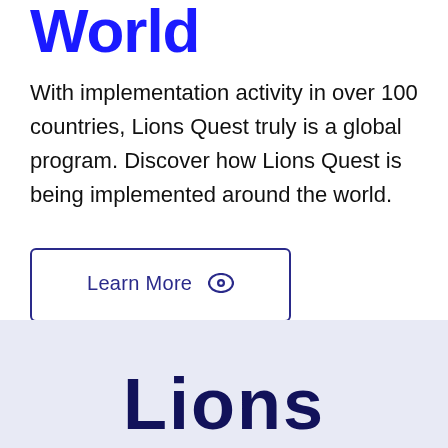World
With implementation activity in over 100 countries, Lions Quest truly is a global program. Discover how Lions Quest is being implemented around the world.
Learn More
Lions